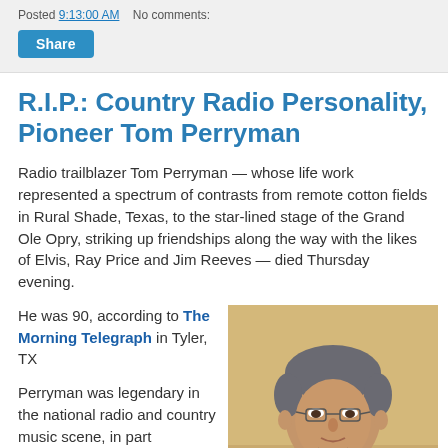Posted 9:13:00 AM   No comments:
Share
R.I.P.: Country Radio Personality, Pioneer Tom Perryman
Radio trailblazer Tom Perryman — whose life work represented a spectrum of contrasts from remote cotton fields in Rural Shade, Texas, to the star-lined stage of the Grand Ole Opry, striking up friendships along the way with the likes of Elvis, Ray Price and Jim Reeves — died Thursday evening.
He was 90, according to The Morning Telegraph in Tyler, TX
[Figure (photo): Portrait photograph of Tom Perryman, an elderly man with glasses, gray hair, wearing a collared shirt, photographed indoors.]
Perryman was legendary in the national radio and country music scene, in part